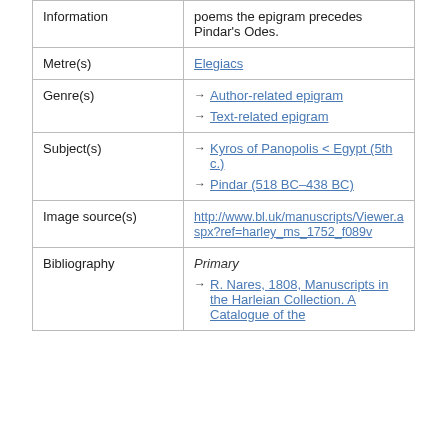| Field | Value |
| --- | --- |
| Information | poems the epigram precedes Pindar's Odes. |
| Metre(s) | Elegiacs |
| Genre(s) | → Author-related epigram
→ Text-related epigram |
| Subject(s) | → Kyros of Panopolis < Egypt (5th c.)
→ Pindar (518 BC-438 BC) |
| Image source(s) | http://www.bl.uk/manuscripts/Viewer.aspx?ref=harley_ms_1752_f089v |
| Bibliography | Primary
→ R. Nares, 1808, Manuscripts in the Harleian Collection. A Catalogue of the |